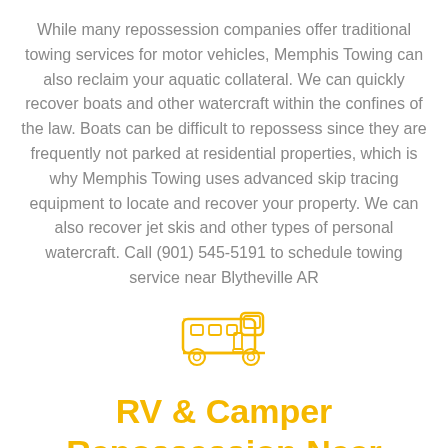While many repossession companies offer traditional towing services for motor vehicles, Memphis Towing can also reclaim your aquatic collateral. We can quickly recover boats and other watercraft within the confines of the law. Boats can be difficult to repossess since they are frequently not parked at residential properties, which is why Memphis Towing uses advanced skip tracing equipment to locate and recover your property. We can also recover jet skis and other types of personal watercraft. Call (901) 545-5191 to schedule towing service near Blytheville AR
[Figure (illustration): Yellow/orange outline icon of a motor home / RV camper]
RV & Camper Repossession Near Blytheville AR
Memphis Towing offers RV and camper repossessions, a